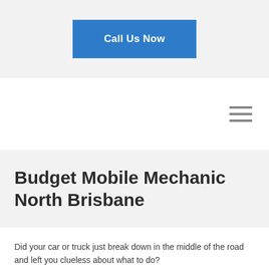Call Us Now
[Figure (other): Hamburger menu icon with three horizontal lines]
Budget Mobile Mechanic North Brisbane
Did your car or truck just break down in the middle of the road and left you clueless about what to do?